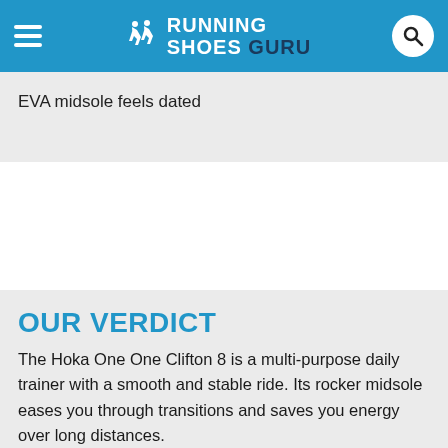Running Shoes Guru
EVA midsole feels dated
OUR VERDICT
The Hoka One One Clifton 8 is a multi-purpose daily trainer with a smooth and stable ride. Its rocker midsole eases you through transitions and saves you energy over long distances.
Version 8 has a more padded tongue, better outsole rubber placement and it has a slightly faster feel